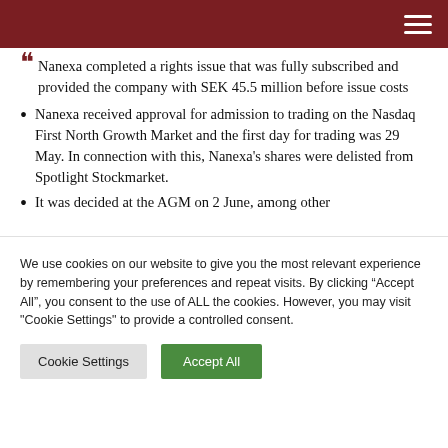Nanexa completed a rights issue that was fully subscribed and provided the company with SEK 45.5 million before issue costs
Nanexa received approval for admission to trading on the Nasdaq First North Growth Market and the first day for trading was 29 May. In connection with this, Nanexa's shares were delisted from Spotlight Stockmarket.
It was decided at the AGM on 2 June, among other
We use cookies on our website to give you the most relevant experience by remembering your preferences and repeat visits. By clicking “Accept All”, you consent to the use of ALL the cookies. However, you may visit "Cookie Settings" to provide a controlled consent.